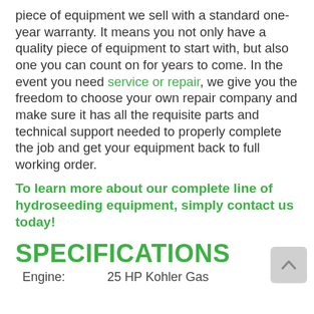piece of equipment we sell with a standard one-year warranty. It means you not only have a quality piece of equipment to start with, but also one you can count on for years to come. In the event you need service or repair, we give you the freedom to choose your own repair company and make sure it has all the requisite parts and technical support needed to properly complete the job and get your equipment back to full working order.
To learn more about our complete line of hydroseeding equipment, simply contact us today!
SPECIFICATIONS
Engine:          25 HP Kohler Gas